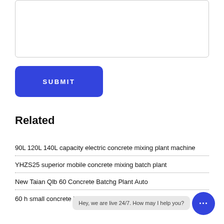[Figure (other): Empty textarea input box with light gray border]
SUBMIT
Related
90L 120L 140L capacity electric concrete mixing plant machine
YHZS25 superior mobile concrete mixing batch plant
New Taian Qlb 60 Concrete Batchg Plant Auto
60 h small concrete batch plant for sale in usa